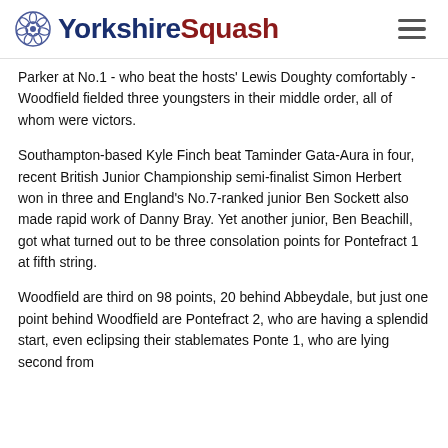YorkshireSquash
Parker at No.1 - who beat the hosts' Lewis Doughty comfortably - Woodfield fielded three youngsters in their middle order, all of whom were victors.
Southampton-based Kyle Finch beat Taminder Gata-Aura in four, recent British Junior Championship semi-finalist Simon Herbert won in three and England's No.7-ranked junior Ben Sockett also made rapid work of Danny Bray. Yet another junior, Ben Beachill, got what turned out to be three consolation points for Pontefract 1 at fifth string.
Woodfield are third on 98 points, 20 behind Abbeydale, but just one point behind Woodfield are Pontefract 2, who are having a splendid start, even eclipsing their stablemates Ponte 1, who are lying second from